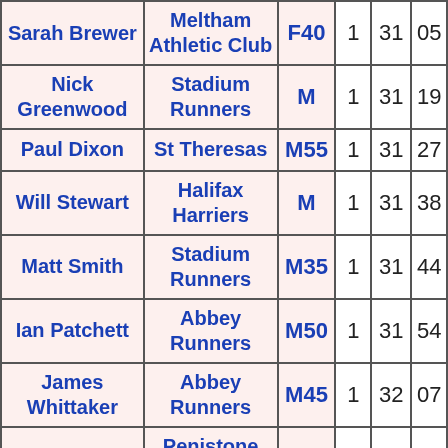| Name | Club | Category |  |  |  |
| --- | --- | --- | --- | --- | --- |
| Sarah Brewer | Meltham Athletic Club | F40 | 1 | 31 | 05 |
| Nick Greenwood | Stadium Runners | M | 1 | 31 | 19 |
| Paul Dixon | St Theresas | M55 | 1 | 31 | 27 |
| Will Stewart | Halifax Harriers | M | 1 | 31 | 38 |
| Matt Smith | Stadium Runners | M35 | 1 | 31 | 44 |
| Ian Patchett | Abbey Runners | M50 | 1 | 31 | 54 |
| James Whittaker | Abbey Runners | M45 | 1 | 32 | 07 |
| Steve | Penistone Footpath | M50 | 1 | 32 | 2 |